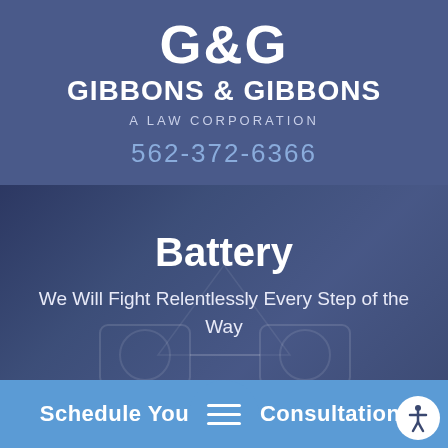[Figure (logo): G&G Gibbons & Gibbons law firm logo with large bold G&G text and firm name]
GIBBONS & GIBBONS
A LAW CORPORATION
562-372-6366
[Figure (photo): Dark blue overlay hero image showing handcuffs in the background]
Battery
We Will Fight Relentlessly Every Step of the Way
Schedule Your Free Consultation!